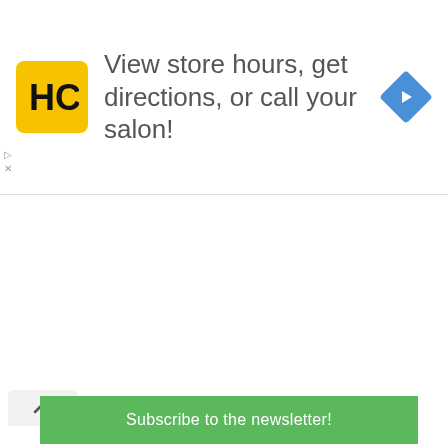[Figure (infographic): HC logo (yellow square with black HC text), ad text 'View store hours, get directions, or call your salon!', blue navigation diamond icon on right]
[Figure (infographic): Newsletter subscription bar with green button 'Subscribe to the newsletter!' and 'powered by MailMunch' text below]
[Figure (infographic): Wilson Blade V2 Padel Rackets advertisement on dark background showing a padel racket with green accents, text: New, Blade V2 Padel Rackets, Take Your Shot With Style, Shop Now button]